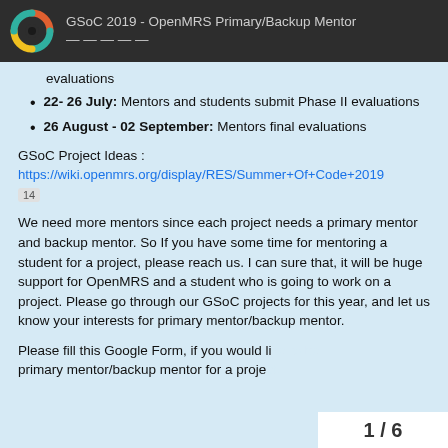GSoC 2019 - OpenMRS Primary/Backup Mentor
evaluations
22- 26 July: Mentors and students submit Phase II evaluations
26 August - 02 September: Mentors final evaluations
GSoC Project Ideas :
https://wiki.openmrs.org/display/RES/Summer+Of+Code+2019
14
We need more mentors since each project needs a primary mentor and backup mentor. So If you have some time for mentoring a student for a project, please reach us. I can sure that, it will be huge support for OpenMRS and a student who is going to work on a project. Please go through our GSoC projects for this year, and let us know your interests for primary mentor/backup mentor.
Please fill this Google Form, if you would like to be primary mentor/backup mentor for a proje
1 / 6